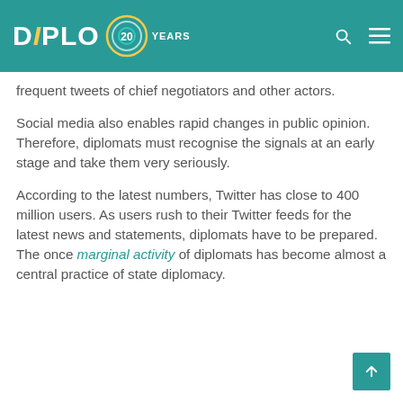DiPLO 20 YEARS
frequent tweets of chief negotiators and other actors.
Social media also enables rapid changes in public opinion. Therefore, diplomats must recognise the signals at an early stage and take them very seriously.
According to the latest numbers, Twitter has close to 400 million users. As users rush to their Twitter feeds for the latest news and statements, diplomats have to be prepared. The once marginal activity of diplomats has become almost a central practice of state diplomacy.